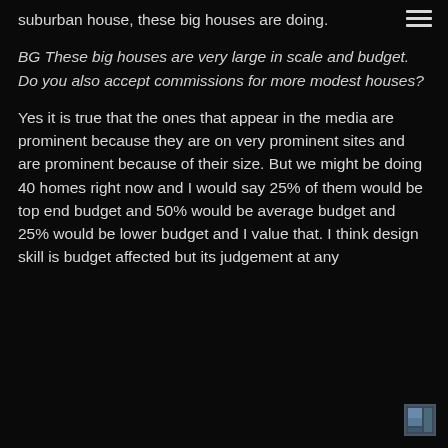suburban house, these big houses are doing.
BG These big houses are very large in scale and budget. Do you also accept commissions for more modest houses?
Yes it is true that the ones that appear in the media are prominent because they are on very prominent sites and are prominent because of their size. But we might be doing 40 homes right now and I would say 25% of them would be top end budget and 50% would be average budget and 25% would be lower budget and I value that. I think design skill is budget affected but its judgement at any